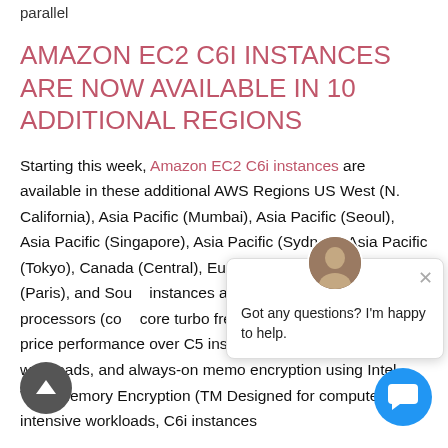parallel
AMAZON EC2 C6I INSTANCES ARE NOW AVAILABLE IN 10 ADDITIONAL REGIONS
Starting this week, Amazon EC2 C6i instances are available in these additional AWS Regions US West (N. California), Asia Pacific (Mumbai), Asia Pacific (Seoul), Asia Pacific (Singapore), Asia Pacific (Sydney), Asia Pacific (Tokyo), Canada (Central), Europe (London), Europe (Paris), and Sou[th America (São Paulo). C6i] instances are powered b[y 3rd generation Intel Xeon] Scalable processors (co[re count up to 128 vCPU,] core turbo frequency of 3[.5 GHz), and deliver 15%] better compute price performance over C5 instances for a wide variety of workloads, and always-on memo[ry] encryption using Intel Total Memory Encryption (TM[E).] Designed for compute-intensive workloads, C6i instances